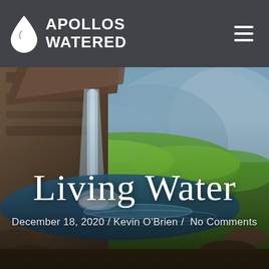[Figure (photo): Outdoor water fountain with stone basin, water flowing from a stone spout into a pool, lush green vegetation and blurred mountain landscape in background]
APOLLOS WATERED
Living Water
December 18, 2020 / Kevin O'Brien / No Comments